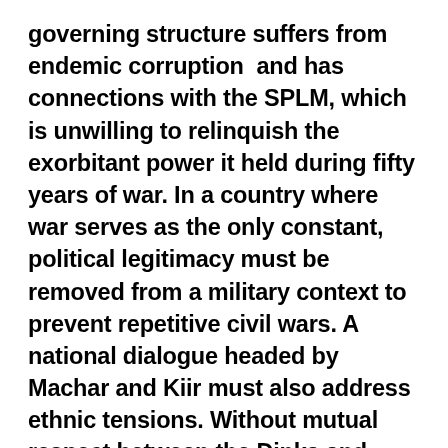governing structure suffers from endemic corruption  and has connections with the SPLM, which is unwilling to relinquish the exorbitant power it held during fifty years of war. In a country where war serves as the only constant, political legitimacy must be removed from a military context to prevent repetitive civil wars. A national dialogue headed by Machar and Kiir must also address ethnic tensions. Without mutual respect between the Dinka and Nuer peoples, the country's social and economic growth will be severely stunted. Kiir and Machar need to put aside ethnic loyalties and promote open reconciliation for the sake of South Sudan's survival. If the two fail...